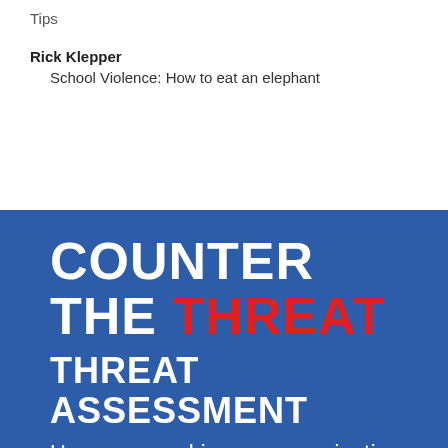Tips
Rick Klepper
    School Violence: How to eat an elephant
COUNTER THE THREAT THREAT ASSESSMENT
How prepared is your organization